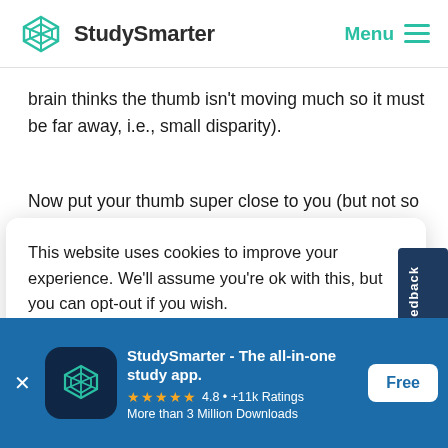StudySmarter | Menu
brain thinks the thumb isn't moving much so it must be far away, i.e., small disparity).
Now put your thumb super close to you (but not so close it's blurry) and do the same thing, closin
This website uses cookies to improve your experience. We'll assume you're ok with this, but you can opt-out if you wish.
Accept
Feedback
StudySmarter - The all-in-one study app.
4.8 • +11k Ratings
More than 3 Million Downloads
Free